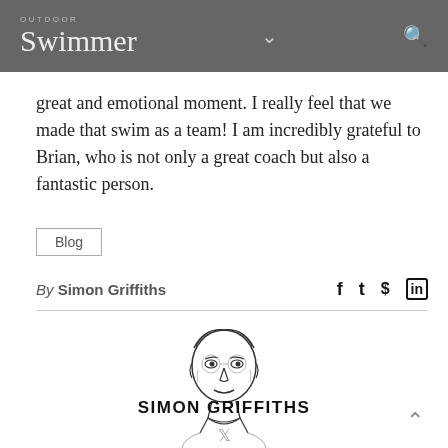OUTDOOR Swimmer
great and emotional moment. I really feel that we made that swim as a team! I am incredibly grateful to Brian, who is not only a great coach but also a fantastic person.
Blog
By Simon Griffiths
[Figure (illustration): Pen-and-ink illustrated portrait of Simon Griffiths]
SIMON GRIFFITHS